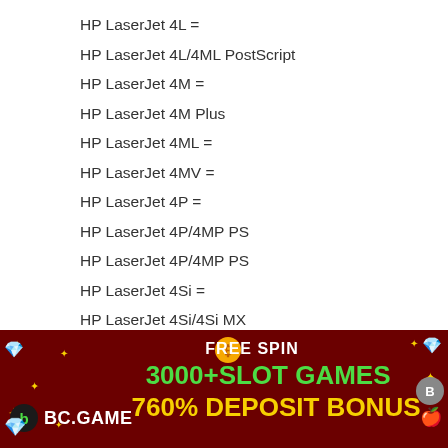HP LaserJet 4L =
HP LaserJet 4L/4ML PostScript
HP LaserJet 4M =
HP LaserJet 4M Plus
HP LaserJet 4ML =
HP LaserJet 4MV =
HP LaserJet 4P =
HP LaserJet 4P/4MP PS
HP LaserJet 4P/4MP PS
HP LaserJet 4Si =
HP LaserJet 4Si/4Si MX
HP LaserJet 4V =
HP LaserJet 4V/4MV PostScript
HP LaserJet 5 =
HP LaserJet 5/5M PostScript
[Figure (other): Advertisement banner for BC.GAME showing FREE SPIN text, 3000+SLOT GAMES, 760% DEPOSIT BONUS on a dark red background]